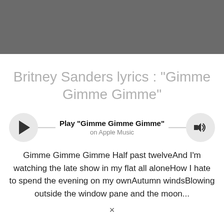[Figure (other): Dark gray header bar at top of page]
Britney Sanders lyrics : "Gimme Gimme Gimme"
[Figure (other): Apple Music player widget with play button on left, volume icon on right, line connecting them, showing Play "Gimme Gimme Gimme" on Apple Music]
Gimme Gimme Gimme Half past twelveAnd I'm watching the late show in my flat all aloneHow I hate to spend the evening on my ownAutumn windsBlowing outside the window pane and the moon...
×